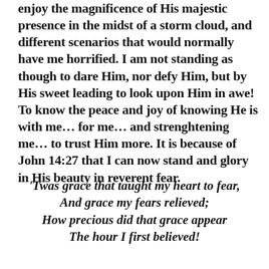enjoy the magnificence of His majestic presence in the midst of a storm cloud, and different scenarios that would normally have me horrified. I am not standing as though to dare Him, nor defy Him, but by His sweet leading to look upon Him in awe! To know the peace and joy of knowing He is with me… for me… and strenghtening me… to trust Him more. It is because of John 14:27 that I can now stand and glory in His beauty in reverent fear.
'Twas grace that taught my heart to fear,
And grace my fears relieved;
How precious did that grace appear
The hour I first believed!